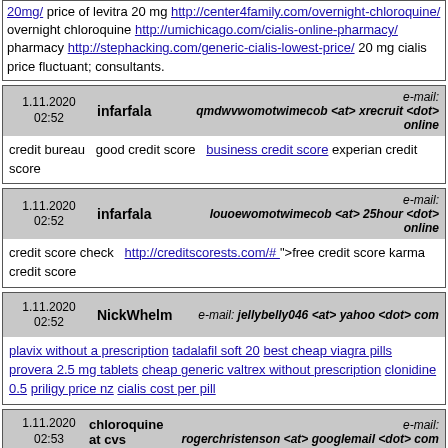20mg/ price of levitra 20 mg http://center4family.com/overnight-chloroquine/ overnight chloroquine http://umichicago.com/cialis-online-pharmacy/ pharmacy http://stephacking.com/generic-cialis-lowest-price/ 20 mg cialis price fluctuant; consultants.
| Date | Author | Email |
| --- | --- | --- |
| 1.11.2020 02:52 | infarfala | e-mail: qmdwvwomotwimecob <at> xrecruit <dot> online |
|  | credit bureau  good credit score  business credit score experian credit score |  |
| Date | Author | Email |
| --- | --- | --- |
| 1.11.2020 02:52 | infarfala | e-mail: louoewomotwimecob <at> 25hour <dot> online |
|  | credit score check  http://creditscorests.com/#  ">free credit score karma credit score |  |
| Date | Author | Email |
| --- | --- | --- |
| 1.11.2020 02:52 | NickWhelm | e-mail: jellybelly046 <at> yahoo <dot> com |
|  | plavix without a prescription tadalafil soft 20 best cheap viagra pills provera 2.5 mg tablets cheap generic valtrex without prescription clonidine 0.5 priligy price nz cialis cost per pill |  |
| Date | Author | Email |
| --- | --- | --- |
| 1.11.2020 02:53 | chloroquine at cvs | e-mail: rogerchristenson <at> googlemail <dot> com |
|  | chloroquine at cvs |  |
| Date | Author | Email |
| --- | --- | --- |
| 1.11.2020 02:53 | MarkWhelm | e-mail: hgrant1070 <at> aol <dot> com |
|  | [url=https://cialislila.com/]average cost of cialis 5mg[/url]
[url=https://ipillspot.com/]flonase otc price[/url] |  |
| Date | Author | Email |
| --- | --- | --- |
| 1.11.2020 02:54 | Glenncrich | e-mail: gooxorbigh <at> gmail <dot> com |
|  | chewable kamagra polo 100mg |  |